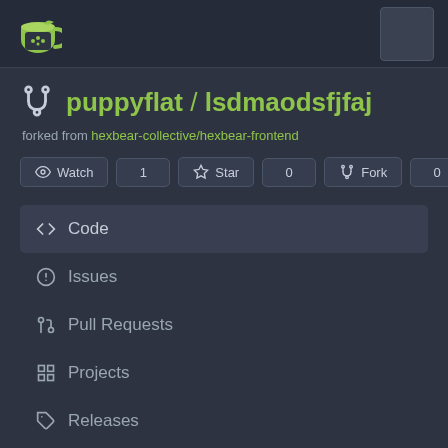[Figure (screenshot): Gitea repository page header with logo and avatar placeholder]
puppyflat / lsdmaodsfjfaj
forked from hexbear-collective/hexbear-frontend
Watch 1  Star 0  Fork 0
Code
Issues
Pull Requests
Projects
Releases
Wiki
Activity